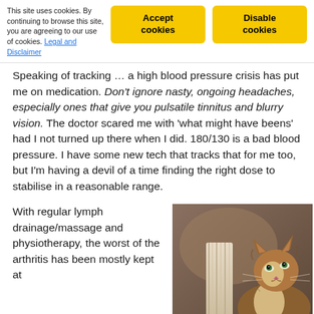This site uses cookies. By continuing to browse this site, you are agreeing to our use of cookies. Legal and Disclaimer | Accept cookies | Disable cookies
Speaking of tracking ... a high blood pressure crisis has put me on medication. Don't ignore nasty, ongoing headaches, especially ones that give you pulsatile tinnitus and blurry vision. The doctor scared me with 'what might have beens' had I not turned up there when I did. 180/130 is a bad blood pressure. I have some new tech that tracks that for me too, but I'm having a devil of a time finding the right dose to stabilise in a reasonable range.
With regular lymph drainage/massage and physiotherapy, the worst of the arthritis has been mostly kept at
[Figure (photo): A fluffy long-haired cat looking upward, photographed indoors next to what appears to be a lamp or candle holder with a warm toned background]